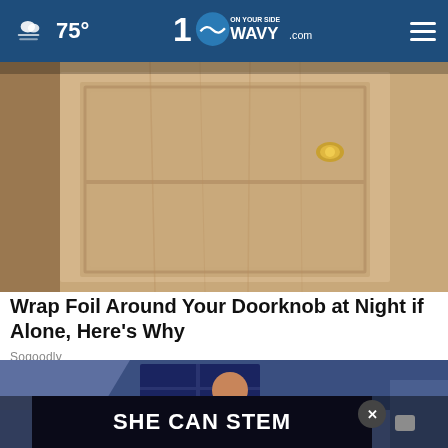75° WAVY.com ON YOUR SIDE
[Figure (photo): Close-up photo of a wooden door with a gold doorknob]
Wrap Foil Around Your Doorknob at Night if Alone, Here's Why
Sogoodly
[Figure (illustration): Animated illustration of a person sitting at a desk at night with a 'SHE CAN STEM' advertisement banner overlay and a close button]